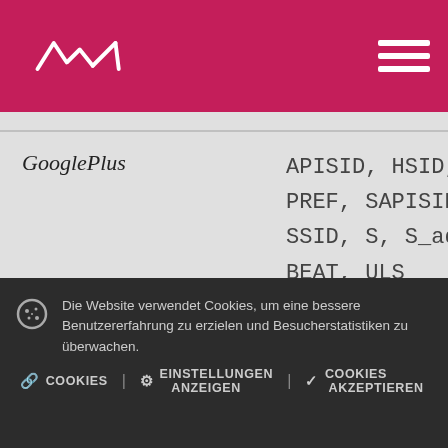MAT logo header with navigation hamburger menu
| Service | Cookie Names | Duration | Description |
| --- | --- | --- | --- |
| GooglePlus | APISID, HSID, NID, PREF, SAPISID, SID, SSID, S, S_adsense, BEAT, ULS | Varies | T... c... s... c... s... b... a... s... |
Die Website verwendet Cookies, um eine bessere Benutzererfahrung zu erzielen und Besucherstatistiken zu überwachen.
COOKIES | EINSTELLUNGEN ANZEIGEN | COOKIES AKZEPTIEREN